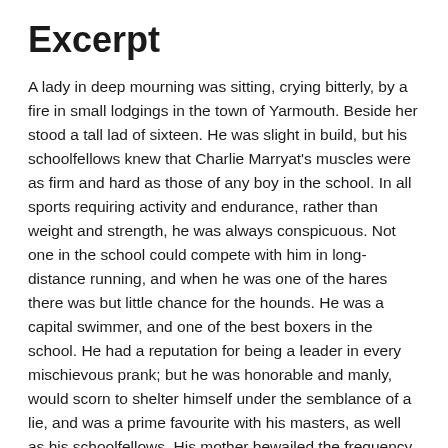Excerpt
A lady in deep mourning was sitting, crying bitterly, by a fire in small lodgings in the town of Yarmouth. Beside her stood a tall lad of sixteen. He was slight in build, but his schoolfellows knew that Charlie Marryat's muscles were as firm and hard as those of any boy in the school. In all sports requiring activity and endurance, rather than weight and strength, he was always conspicuous. Not one in the school could compete with him in long-distance running, and when he was one of the hares there was but little chance for the hounds. He was a capital swimmer, and one of the best boxers in the school. He had a reputation for being a leader in every mischievous prank; but he was honorable and manly, would scorn to shelter himself under the semblance of a lie, and was a prime favourite with his masters, as well as his schoolfellows. His mother bewailed the frequency with which he returned home with blackened eyes and bruised face; for between Dr. Willet's school and the fisher lads of Yarmouth there was a standing feud, whose origin dated so far back that none of those now at school could trace it. Consequently, fierce fights often took place in the narrow rows, and sometimes the fisher boys would be driven back on to the broad quay shaded by trees, by the river, and there being reinforced from the craft along the side, would reassume the